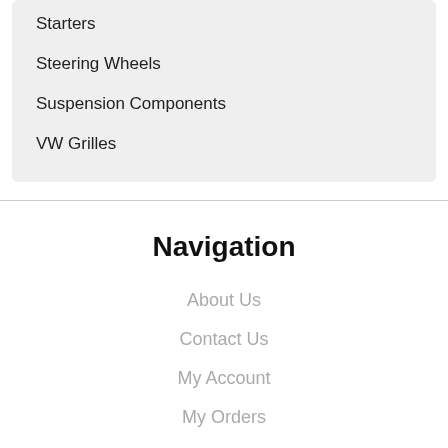Starters
Steering Wheels
Suspension Components
VW Grilles
Navigation
About Us
Contact Us
My Account
My Orders
Sitemap